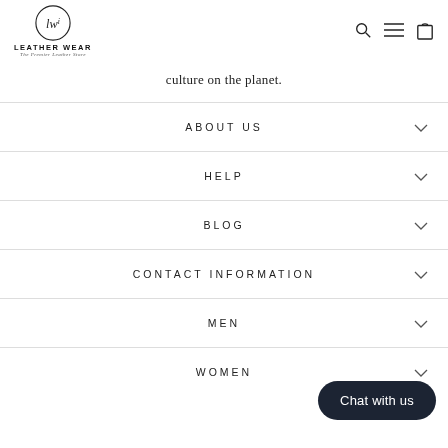LEATHER WEAR — The Premier Leather Store
culture on the planet.
ABOUT US
HELP
BLOG
CONTACT INFORMATION
MEN
WOMEN
Chat with us